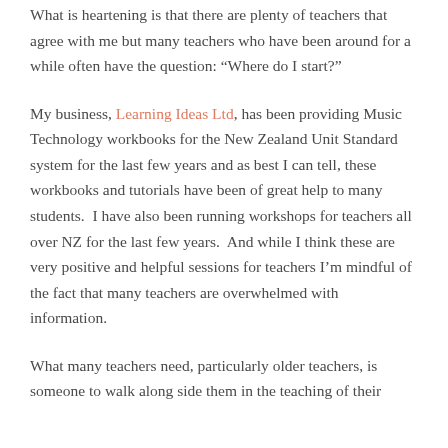What is heartening is that there are plenty of teachers that agree with me but many teachers who have been around for a while often have the question: “Where do I start?”
My business, Learning Ideas Ltd, has been providing Music Technology workbooks for the New Zealand Unit Standard system for the last few years and as best I can tell, these workbooks and tutorials have been of great help to many students.  I have also been running workshops for teachers all over NZ for the last few years.  And while I think these are very positive and helpful sessions for teachers I’m mindful of the fact that many teachers are overwhelmed with information.
What many teachers need, particularly older teachers, is someone to walk along side them in the teaching of their